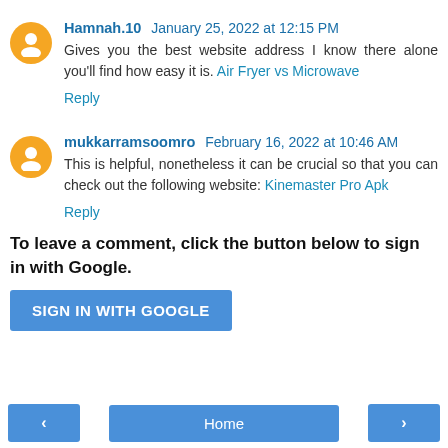Hamnah.10 January 25, 2022 at 12:15 PM
Gives you the best website address I know there alone you'll find how easy it is. Air Fryer vs Microwave
Reply
mukkarramsoomro February 16, 2022 at 10:46 AM
This is helpful, nonetheless it can be crucial so that you can check out the following website: Kinemaster Pro Apk
Reply
To leave a comment, click the button below to sign in with Google.
SIGN IN WITH GOOGLE
< Home >